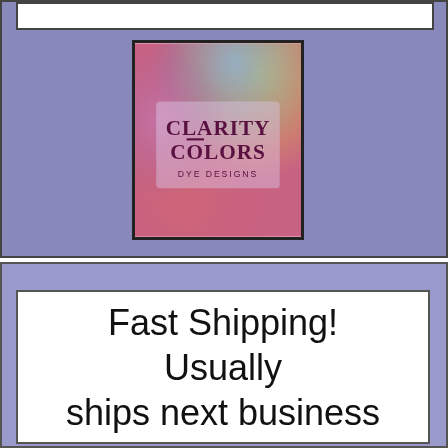[Figure (logo): Clarity Colors Dye Designs logo — colorful watercolor background (pink, yellow, blue) with text 'CLARITY COLORS DYE DESIGNS']
Fast Shipping! Usually ships next business